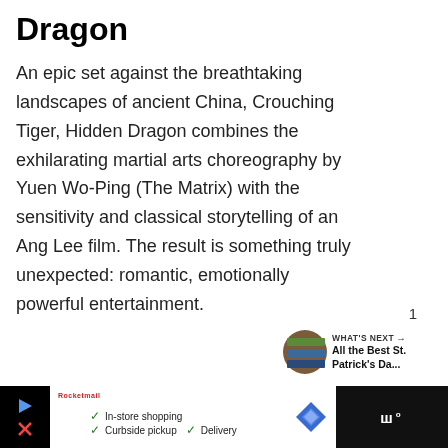Dragon
An epic set against the breathtaking landscapes of ancient China, Crouching Tiger, Hidden Dragon combines the exhilarating martial arts choreography by Yuen Wo-Ping (The Matrix) with the sensitivity and classical storytelling of an Ang Lee film. The result is something truly unexpected: romantic, emotionally powerful entertainment.
[Figure (infographic): Teal heart/like button with count of 1 and share button below]
[Figure (infographic): What's Next panel with thumbnail and text: All the Best St. Patrick's Da...]
[Figure (infographic): Advertisement bar at bottom with In-store shopping, Curbside pickup, Delivery options and logos]